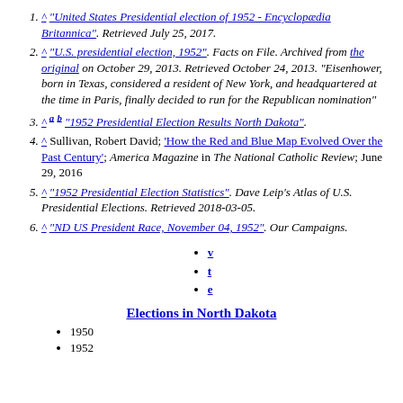1. ^ "United States Presidential election of 1952 - Encyclopædia Britannica". Retrieved July 25, 2017.
2. ^ "U.S. presidential election, 1952". Facts on File. Archived from the original on October 29, 2013. Retrieved October 24, 2013. "Eisenhower, born in Texas, considered a resident of New York, and headquartered at the time in Paris, finally decided to run for the Republican nomination"
3. ^ a b "1952 Presidential Election Results North Dakota".
4. ^ Sullivan, Robert David; 'How the Red and Blue Map Evolved Over the Past Century'; America Magazine in The National Catholic Review; June 29, 2016
5. ^ "1952 Presidential Election Statistics". Dave Leip's Atlas of U.S. Presidential Elections. Retrieved 2018-03-05.
6. ^ "ND US President Race, November 04, 1952". Our Campaigns.
v
t
e
Elections in North Dakota
1950
1952